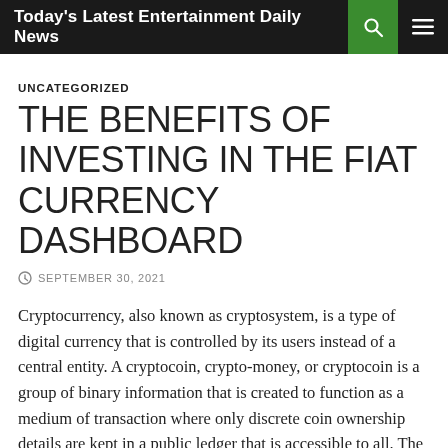Today's Latest Entertainment Daily News
UNCATEGORIZED
THE BENEFITS OF INVESTING IN THE FIAT CURRENCY DASHBOARD
SEPTEMBER 30, 2021
Cryptocurrency, also known as cryptosystem, is a type of digital currency that is controlled by its users instead of a central entity. A cryptocoin, crypto-money, or cryptocoin is a group of binary information that is created to function as a medium of transaction where only discrete coin ownership details are kept in a public ledger that is accessible to all. The